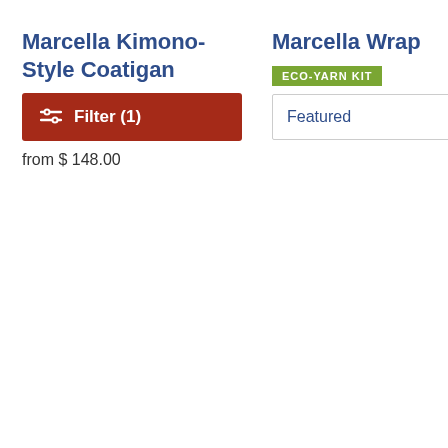Marcella Kimono-Style Coatigan
[Figure (other): Red filter button with filter icon and text 'Filter (1)']
from $ 148.00
Marcella Wrap
[Figure (other): Green badge reading 'ECO-YARN KIT']
[Figure (other): Sort dropdown showing 'Featured' with chevron down]